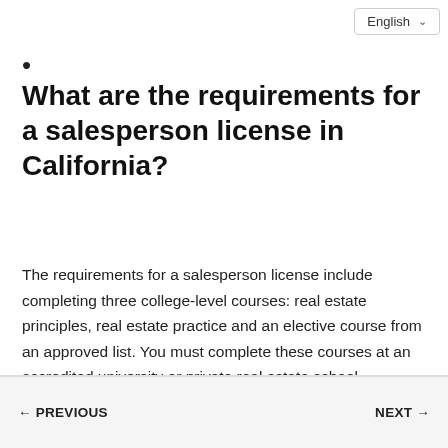•
What are the requirements for a salesperson license in California?
The requirements for a salesperson license include completing three college-level courses: real estate principles, real estate practice and an elective course from an approved list. You must complete these courses at an accredited university or private real estate school approved by the California Real Estate Commissioner.
← PREVIOUS    NEXT →